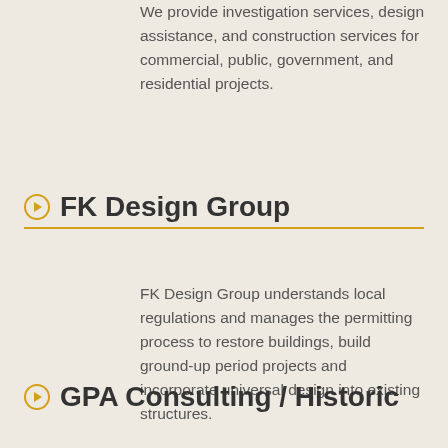We provide investigation services, design assistance, and construction services for commercial, public, government, and residential projects.
FK Design Group
FK Design Group understands local regulations and manages the permitting process to restore buildings, build ground-up period projects and incorporate universal design into existing structures.
GPA Consulting / Historic